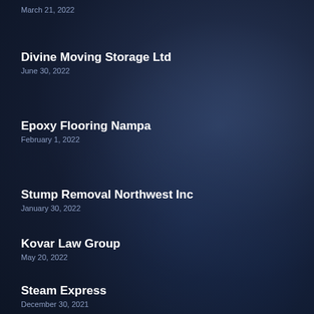March 21, 2022
Divine Moving Storage Ltd
June 30, 2022
Epoxy Flooring Nampa
February 1, 2022
Stump Removal Northwest Inc
January 30, 2022
Kovar Law Group
May 20, 2022
Steam Express
December 30, 2021